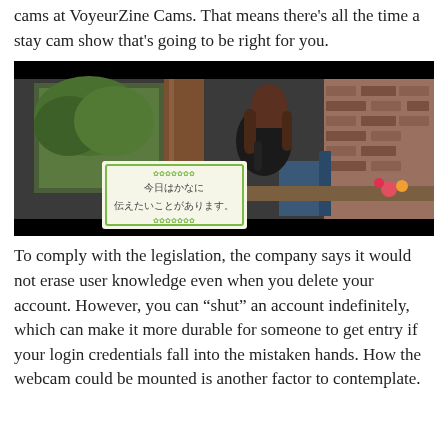cams at VoyeurZine Cams. That means there's all the time a stay cam show that's going to be right for you.
[Figure (photo): A woman with reddish-brown hair wearing a black outfit, sitting at a table and writing, photographed in what appears to be a restaurant setting. An overlay card with Japanese text is visible in the lower left of the image.]
To comply with the legislation, the company says it would not erase user knowledge even when you delete your account. However, you can “shut” an account indefinitely, which can make it more durable for someone to get entry if your login credentials fall into the mistaken hands. How the webcam could be mounted is another factor to contemplate.